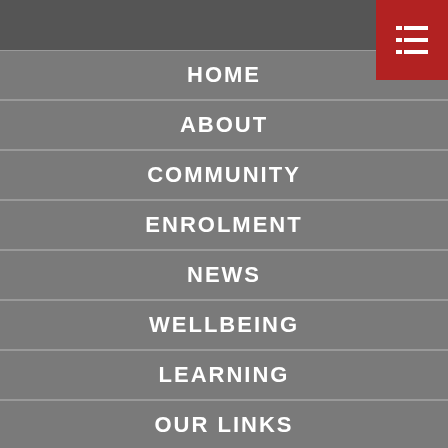[Figure (screenshot): Navigation menu of a school website with a red hamburger/list icon in the top right corner]
HOME
ABOUT
COMMUNITY
ENROLMENT
NEWS
WELLBEING
LEARNING
OUR LINKS